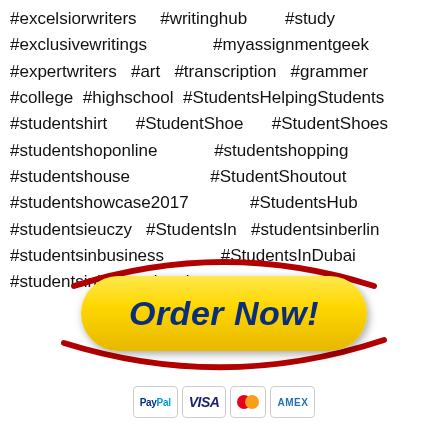#excelsiorwriters #writinghub #study #exclusivewritings #myassignmentgeek #expertwriters #art #transcription #grammer #college #highschool #StudentsHelpingStudents #studentshirt #StudentShoe #StudentShoes #studentshoponline #studentshopping #studentshouse #StudentShoutout #studentshowcase2017 #StudentsHub #studentsieuczy #StudentsIn #studentsinberlin #studentsinbusiness #StudentsInDubai #studentsininternational
[Figure (illustration): Yellow 'Order Now!' button with red swoosh/orbit decoration, and payment method logos (PayPal, Visa, MasterCard, Amex) below]